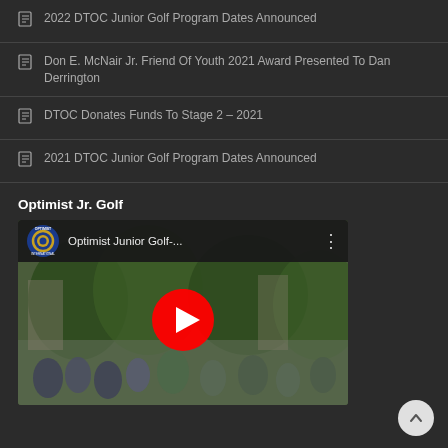2022 DTOC Junior Golf Program Dates Announced
Don E. McNair Jr. Friend Of Youth 2021 Award Presented To Dan Derrington
DTOC Donates Funds To Stage 2 – 2021
2021 DTOC Junior Golf Program Dates Announced
Optimist Jr. Golf
[Figure (screenshot): YouTube video thumbnail for 'Optimist Junior Golf-...' with Optimist International logo and red play button overlay, showing crowd of people at golf event]